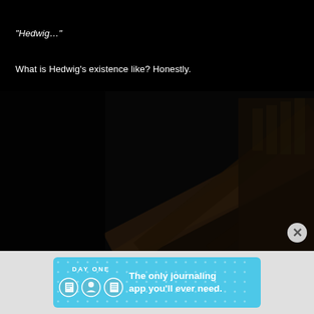“Hedwig…”
What is Hedwig's existence like? Honestly.
[Figure (photo): Dark scene showing old wooden staircase or structure viewed from below at an angle, very dark atmosphere]
[Figure (infographic): Advertisement banner for Day One journaling app: 'The only journaling app you'll ever need.' Light blue background with app icons and brand name 'DAY ONE']